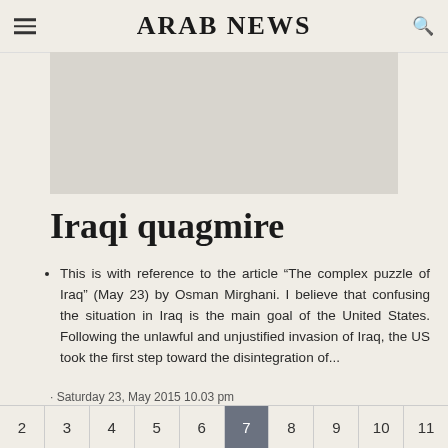ARAB NEWS
[Figure (other): Advertisement placeholder image (gray rectangle)]
Iraqi quagmire
This is with reference to the article “The complex puzzle of Iraq” (May 23) by Osman Mirghani. I believe that confusing the situation in Iraq is the main goal of the United States. Following the unlawful and unjustified invasion of Iraq, the US took the first step toward the disintegration of...
· Saturday 23, May 2015 10.03 pm
| 2 | 3 | 4 | 5 | 6 | 7 | 8 | 9 | 10 | 11 |
| --- | --- | --- | --- | --- | --- | --- | --- | --- | --- |
| 2 | 3 | 4 | 5 | 6 | 7 | 8 | 9 | 10 | 11 |